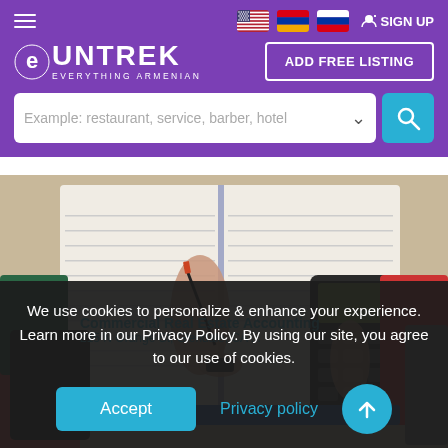[Figure (screenshot): Untrek website header with purple background, hamburger menu, flag icons (US, Armenian, Russian), SIGN UP button, Untrek logo with 'EVERYTHING ARMENIAN' tagline, ADD FREE LISTING button, and search bar with placeholder text]
[Figure (photo): Overhead photo of a person's hands using a calculator on an open notebook/ledger, with various colorful notebooks and binders on a desk]
We use cookies to personalize & enhance your experience. Learn more in our Privacy Policy. By using our site, you agree to our use of cookies.
Accept
Privacy policy